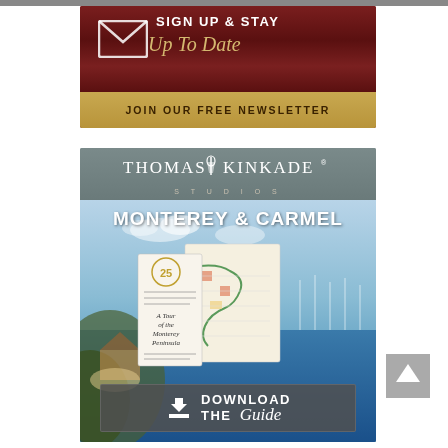[Figure (infographic): Dark red/maroon newsletter signup banner with envelope icon, 'SIGN UP & STAY Up To Date' text in white and gold, and gold bar at bottom reading 'JOIN OUR FREE NEWSLETTER']
[Figure (infographic): Thomas Kinkade Studios advertisement showing 'MONTEREY & CARMEL' with scenic coastal artwork background, brochure/map overlay, and 'DOWNLOAD THE Guide' button at bottom]